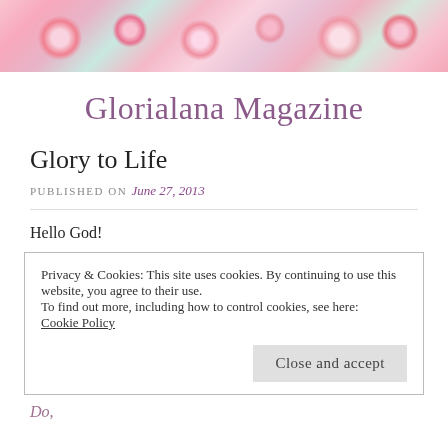[Figure (photo): Floral banner with pink and red flowers, yellow centers, green background at top of page]
Glorialana Magazine
Glory to Life
PUBLISHED ON June 27, 2013
Hello God!
Privacy & Cookies: This site uses cookies. By continuing to use this website, you agree to their use.
To find out more, including how to control cookies, see here:
Cookie Policy
Close and accept
Do,